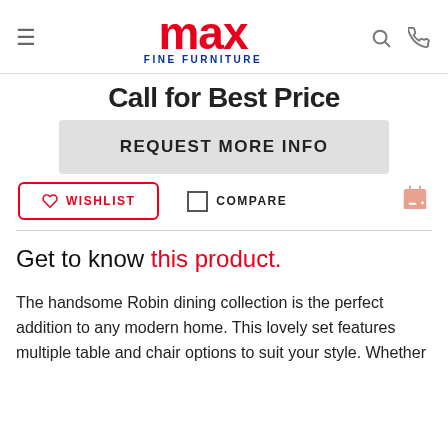MAX FINE FURNITURE — navigation header with logo, search, and phone icons
Call for Best Price
REQUEST MORE INFO
WISHLIST    COMPARE    [print icon]
Get to know this product.
The handsome Robin dining collection is the perfect addition to any modern home. This lovely set features multiple table and chair options to suit your style. Whether